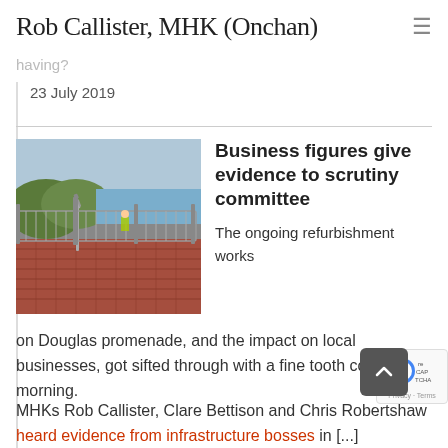Rob Callister, MHK (Onchan)
having?
23 July 2019
[Figure (photo): Construction/refurbishment works on Douglas promenade showing metal security fencing alongside a red brick path, with green hills and sea in the background.]
Business figures give evidence to scrutiny committee
The ongoing refurbishment works on Douglas promenade, and the impact on local businesses, got sifted through with a fine tooth comb this morning.
MHKs Rob Callister, Clare Bettison and Chris Robertshaw heard evidence from infrastructure bosses in [...]